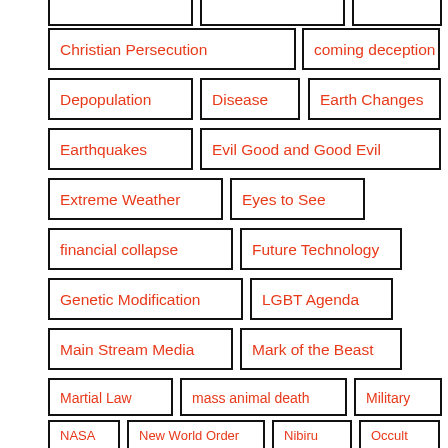Christian Persecution
coming deception
Depopulation
Disease
Earth Changes
Earthquakes
Evil Good and Good Evil
Extreme Weather
Eyes to See
financial collapse
Future Technology
Genetic Modification
LGBT Agenda
Main Stream Media
Mark of the Beast
Martial Law
mass animal death
Military
NASA
New World Order
Nibiru
Occult
Prophecy
Surveillance
Total Control